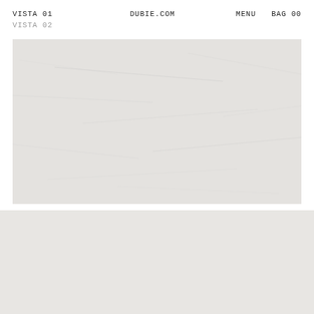VISTA 01   DUBIE.COM   MENU   BAG 00
VISTA 02
[Figure (photo): Large rectangular product image showing a light grey textured marble or stone surface with subtle veining.]
COOKIES
We use cookies to provide you a personalised shopping experience. To find out more and learn how to opt out, read our cookie policy.
AGREE & PROCEED